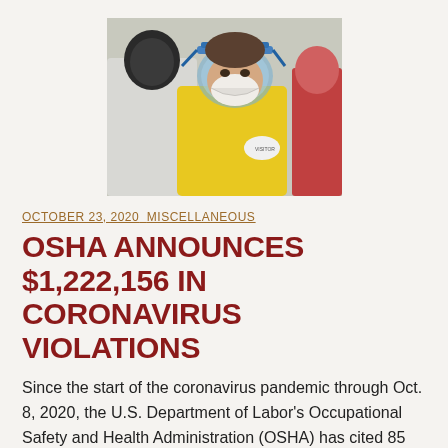[Figure (photo): Workers in PPE — yellow hazmat suit, face shield, N95 respirator mask, with others in white protective suits visible in background]
OCTOBER 23, 2020   MISCELLANEOUS
OSHA ANNOUNCES $1,222,156 IN CORONAVIRUS VIOLATIONS
Since the start of the coronavirus pandemic through Oct. 8, 2020, the U.S. Department of Labor's Occupational Safety and Health Administration (OSHA) has cited 85 establishments for violations relating to coronavirus,